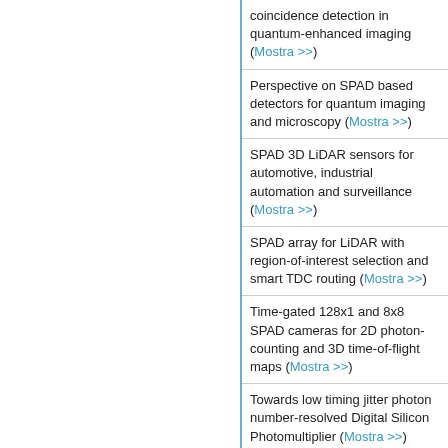coincidence detection in quantum-enhanced imaging (Mostra >>)
Perspective on SPAD based detectors for quantum imaging and microscopy (Mostra >>)
SPAD 3D LiDAR sensors for automotive, industrial automation and surveillance (Mostra >>)
SPAD array for LiDAR with region-of-interest selection and smart TDC routing (Mostra >>)
Time-gated 128x1 and 8x8 SPAD cameras for 2D photon-counting and 3D time-of-flight maps (Mostra >>)
Towards low timing jitter photon number-resolved Digital Silicon Photomultiplier (Mostra >>)
Towards low-timing jitter photon number-resolved digital silicon photomultipliers (Mostra >>)